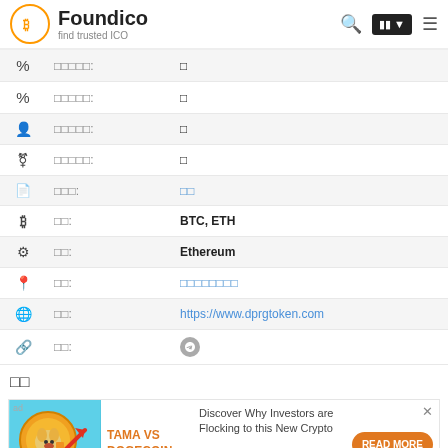Foundico - find trusted ICO
| Icon | Label | Value |
| --- | --- | --- |
| % | □□□□□: | □ |
| % | □□□□□: | □ |
| person | □□□□□: | □ |
| settings | □□□□□: | □ |
| file | □□□: | □□ |
| bitcoin | □□: | BTC, ETH |
| gear | □□: | Ethereum |
| pin | □□: | □□□□□□□□ |
| globe | □□: | https://www.dprgtoken.com |
| link | □□: | telegram icon |
□□
[Figure (infographic): Advertisement banner for TAMA VS DOGECOIN crypto with orange dog coin illustration and upward arrow chart, orange READ MORE button, and text: Discover Why Investors are Flocking to this New Crypto]